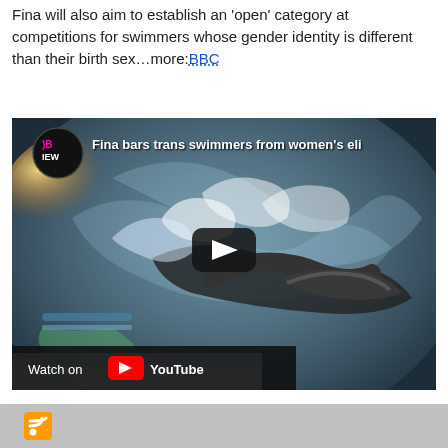Fina will also aim to establish an 'open' category at competitions for swimmers whose gender identity is different than their birth sex…more:BBC
[Figure (screenshot): Embedded YouTube video thumbnail showing a swimmer in action with water splashing, with BBC News logo and title 'Fina bars trans swimmers from women's eli...' visible. A play button overlay is shown in the center. A 'Watch on YouTube' bar appears at the bottom.]
RSS feed icon